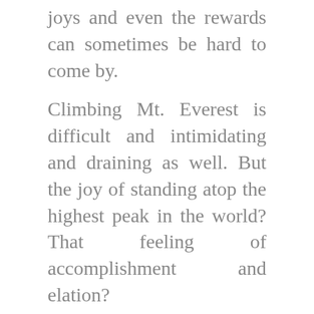joys and even the rewards can sometimes be hard to come by.
Climbing Mt. Everest is difficult and intimidating and draining as well. But the joy of standing atop the highest peak in the world? That feeling of accomplishment and elation?
PLEASE SHARE
[Figure (other): Pinterest share button with Pinterest logo icon]
LIKE THIS:
Loading...